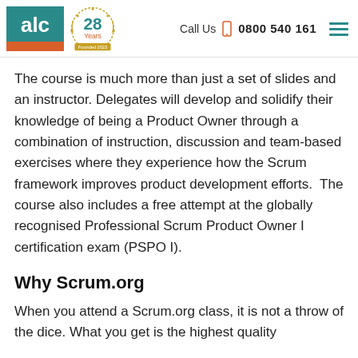ALC | 28 Years | Call Us 0800 540 161
The course is much more than just a set of slides and an instructor. Delegates will develop and solidify their knowledge of being a Product Owner through a combination of instruction, discussion and team-based exercises where they experience how the Scrum framework improves product development efforts.  The course also includes a free attempt at the globally recognised Professional Scrum Product Owner I certification exam (PSPO I).
Why Scrum.org
When you attend a Scrum.org class, it is not a throw of the dice. What you get is the highest quality